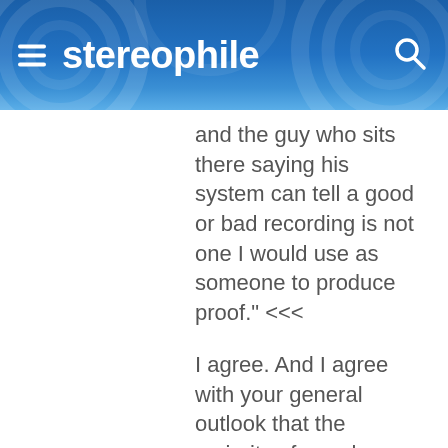stereophile
and the guy who sits there saying his system can tell a good or bad recording is not one I would use as someone to produce proof." <<<
I agree. And I agree with your general outlook that the majority of people are not getting (hearing) just what their Hi Fi system is capable of producing – whoever designed and made it and however much it cost.